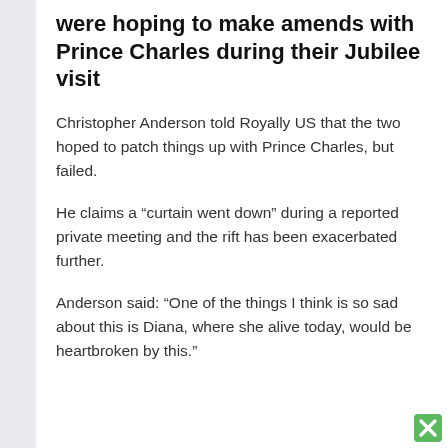were hoping to make amends with Prince Charles during their Jubilee visit
Christopher Anderson told Royally US that the two hoped to patch things up with Prince Charles, but failed.
He claims a “curtain went down” during a reported private meeting and the rift has been exacerbated further.
Anderson said: “One of the things I think is so sad about this is Diana, where she alive today, would be heartbroken by this.”